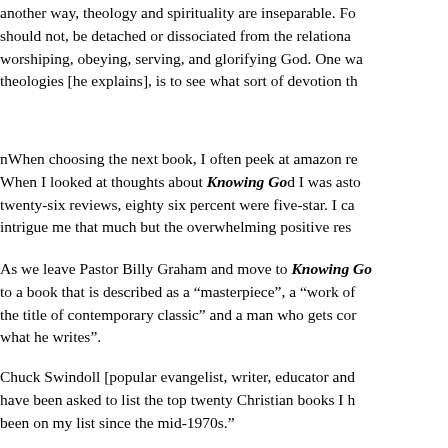another way, theology and spirituality are inseparable. Fo should not, be detached or dissociated from the relationa worshiping, obeying, serving, and glorifying God. One wa theologies [he explains], is to see what sort of devotion th
nWhen choosing the next book, I often peek at amazon re When I looked at thoughts about Knowing God I was asto twenty-six reviews, eighty six percent were five-star. I ca intrigue me that much but the overwhelming positive res
As we leave Pastor Billy Graham and move to Knowing Go to a book that is described as a “masterpiece”, a “work of the title of contemporary classic” and a man who gets cor what he writes”.
Chuck Swindoll [popular evangelist, writer, educator and have been asked to list the top twenty Christian books I h been on my list since the mid-1970s.”